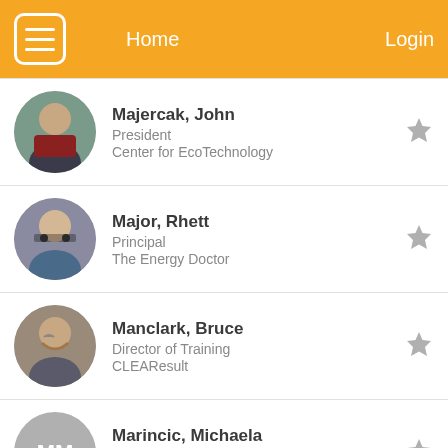Home  Login
Majercak, John
President
Center for EcoTechnology
Major, Rhett
Principal
The Energy Doctor
Manclark, Bruce
Director of Training
CLEAResult
Marincic, Michaela
Research Associate
ThreeCubed Inc.
Matteson, Shane
Co-owner